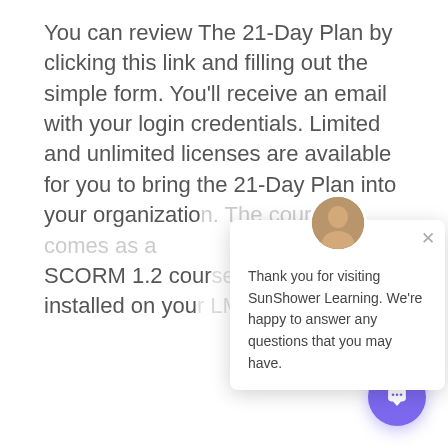You can review The 21-Day Plan by clicking this link and filling out the simple form. You'll receive an email with your login credentials. Limited and unlimited licenses are available for you to bring the 21-Day Plan into your organization. The course comes as a SCORM 1.2 course that can be installed on you
[Figure (screenshot): Chat popup overlay showing a person's avatar photo at the top, an X close button, and text: 'Thank you for visiting SunShower Learning. We're happy to answer any questions that you may have.' A purple circular chat button is visible in the bottom-right corner.]